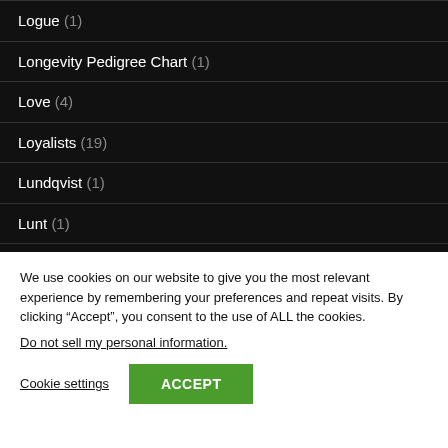Logue (1)
Longevity Pedigree Chart (1)
Love (4)
Loyalists (19)
Lundqvist (1)
Lunt (1)
Lyon (1)
Mahon (2)
We use cookies on our website to give you the most relevant experience by remembering your preferences and repeat visits. By clicking “Accept”, you consent to the use of ALL the cookies.
Do not sell my personal information.
Cookie settings
ACCEPT